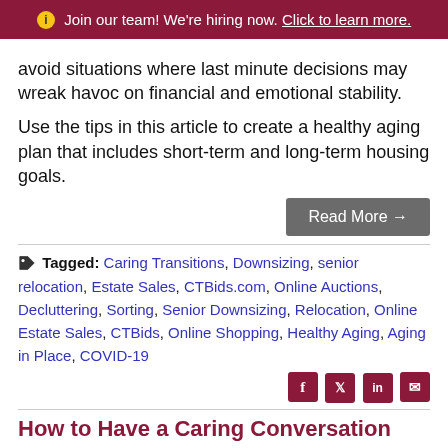ℹ Join our team! We're hiring now. Click to learn more.
avoid situations where last minute decisions may wreak havoc on financial and emotional stability.
Use the tips in this article to create a healthy aging plan that includes short-term and long-term housing goals.
Read More →
Tagged: Caring Transitions, Downsizing, senior relocation, Estate Sales, CTBids.com, Online Auctions, Decluttering, Sorting, Senior Downsizing, Relocation, Online Estate Sales, CTBids, Online Shopping, Healthy Aging, Aging in Place, COVID-19
How to Have a Caring Conversation